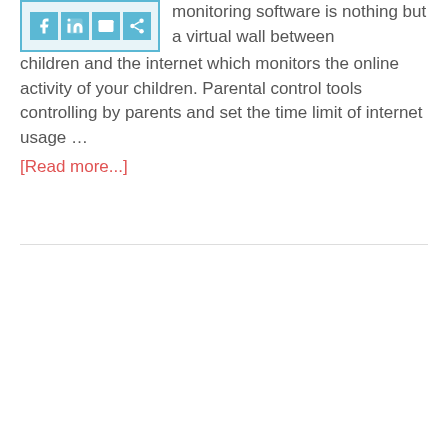[Figure (illustration): Social media icon buttons in blue squares (Facebook, LinkedIn, and two others) against a light blue background with a blue border.]
software and apps. The parental monitoring software is nothing but a virtual wall between children and the internet which monitors the online activity of your children. Parental control tools controlling by parents and set the time limit of internet usage … [Read more...]